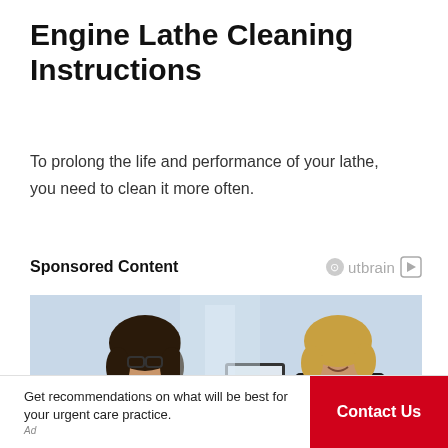Engine Lathe Cleaning Instructions
To prolong the life and performance of your lathe, you need to clean it more often.
Sponsored Content
[Figure (photo): Two women at an office reception desk, one with curly dark hair and glasses smiling, the other with curly blonde hair, both engaged in conversation near a computer monitor.]
Get recommendations on what will be best for your urgent care practice.
Contact Us